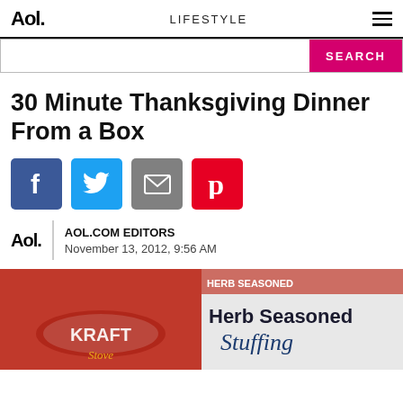Aol. | LIFESTYLE
SEARCH
30 Minute Thanksgiving Dinner From a Box
[Figure (infographic): Social sharing buttons: Facebook (blue), Twitter (light blue), Email (gray), Pinterest (red)]
AOL.COM EDITORS
November 13, 2012, 9:56 AM
[Figure (photo): Photo of Kraft macaroni box and Herb Seasoned Stuffing bag on a table]